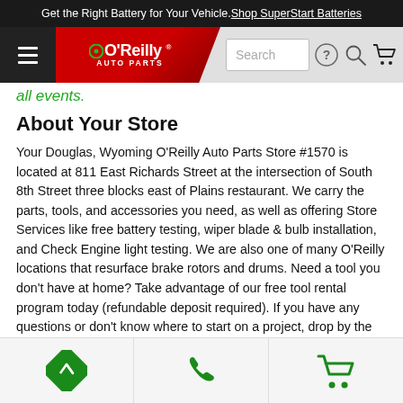Get the Right Battery for Your Vehicle. Shop SuperStart Batteries
[Figure (screenshot): O'Reilly Auto Parts navigation bar with hamburger menu, logo, search box, help icon, search icon, and cart icon]
all events.
About Your Store
Your Douglas, Wyoming O'Reilly Auto Parts Store #1570 is located at 811 East Richards Street at the intersection of South 8th Street three blocks east of Plains restaurant. We carry the parts, tools, and accessories you need, as well as offering Store Services like free battery testing, wiper blade & bulb installation, and Check Engine light testing. We are also one of many O'Reilly locations that resurface brake rotors and drums. Need a tool you don't have at home? Take advantage of our free tool rental program today (refundable deposit required). If you have any questions or don't know where to start on a project, drop by the store and speak with one of our Parts Professionals today. From a brake master cylinder or thermostat to a car battery charger or seat covers, O'Reilly Store
[Figure (infographic): Bottom navigation bar with three icons: directions arrow (green), phone (green), and shopping cart (green)]